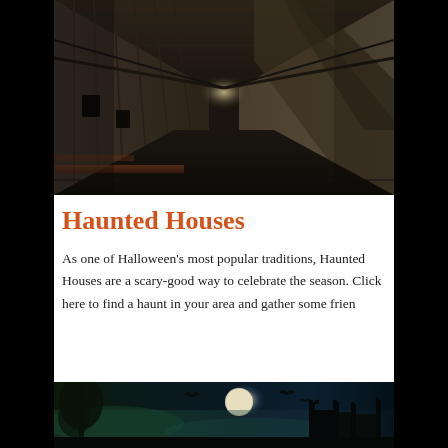[Figure (photo): Dark, eerie industrial hallway or corridor with corrugated metal walls, debris on the floor, and dim light at the far end. High contrast, moody, horror-themed photograph.]
Haunted Houses
As one of Halloween's most popular traditions, Haunted Houses are a scary-good way to celebrate the season. Click here to find a haunt in your area and gather some frien
[Figure (photo): Dark Halloween-themed image with a spooky castle silhouette, full moon, bats flying, trees, and eerie teal/blue atmospheric lighting.]